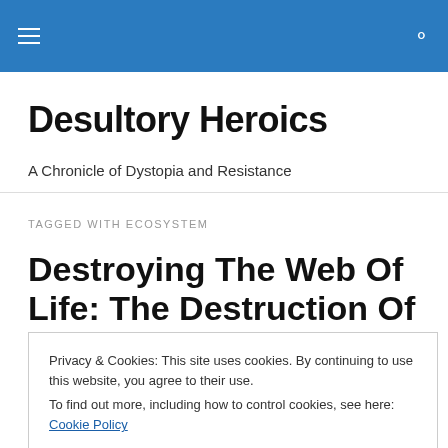Desultory Heroics — navigation bar
Desultory Heroics
A Chronicle of Dystopia and Resistance
TAGGED WITH ECOSYSTEM
Destroying The Web Of Life: The Destruction Of Earth's
Privacy & Cookies: This site uses cookies. By continuing to use this website, you agree to their use. To find out more, including how to control cookies, see here: Cookie Policy
Close and accept